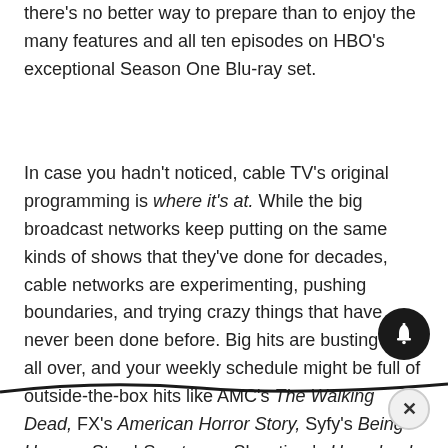there's no better way to prepare than to enjoy the many features and all ten episodes on HBO's exceptional Season One Blu-ray set.

In case you hadn't noticed, cable TV's original programming is where it's at. While the big broadcast networks keep putting on the same kinds of shows that they've done for decades, cable networks are experimenting, pushing boundaries, and trying crazy things that have never been done before. Big hits are busting out all over, and your weekly schedule might be full of outside-the-box hits like AMC's The Walking Dead, FX's American Horror Story, Syfy's Being Human, Starz' Spartacus, Showtime's Homeland, or HBO's True Blood. Hollywood's biggest showrunners are escaping...